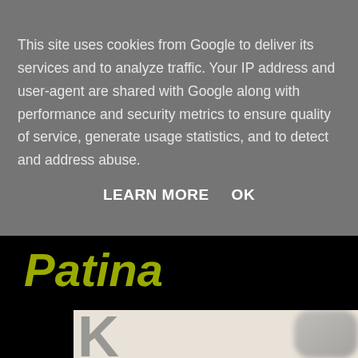This site uses cookies from Google to deliver its services and to analyze traffic. Your IP address and user-agent are shared with Google along with performance and security metrics to ensure quality of service, generate usage statistics, and to detect and address abuse.
LEARN MORE   OK
Patina
[Figure (photo): Partial book cover image showing a large letter K in gray on a light background, with a blurred figure on the right side]